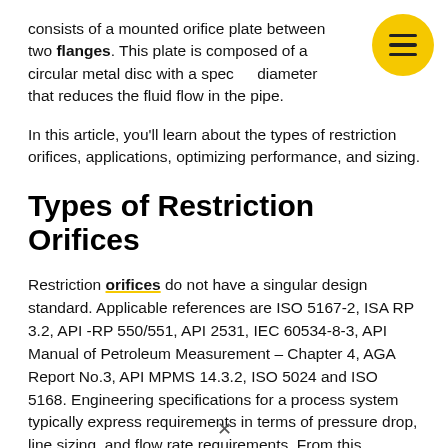consists of a mounted orifice plate between two flanges. This plate is composed of a circular metal disc with a specific diameter that reduces the fluid flow in the pipe.
In this article, you'll learn about the types of restriction orifices, applications, optimizing performance, and sizing.
Types of Restriction Orifices
Restriction orifices do not have a singular design standard. Applicable references are ISO 5167-2, ISA RP 3.2, API -RP 550/551, API 2531, IEC 60534-8-3, API Manual of Petroleum Measurement – Chapter 4, AGA Report No.3, API MPMS 14.3.2, ISO 5024 and ISO 5168. Engineering specifications for a process system typically express requirements in terms of pressure drop, line sizing, and flow rate requirements. From this information, restriction orifice sizing may be obtained.